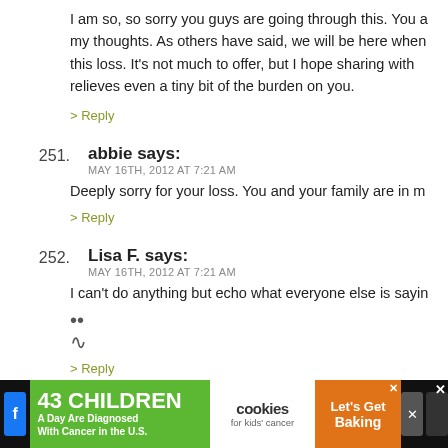I am so, so sorry you guys are going through this. You are in my thoughts. As others have said, we will be here when you need this loss. It's not much to offer, but I hope sharing with you relieves even a tiny bit of the burden on you.
> Reply
251. abbie says:
MAY 16TH, 2012 AT 7:21 AM
Deeply sorry for your loss. You and your family are in m
> Reply
252. Lisa F. says:
MAY 16TH, 2012 AT 7:21 AM
I can't do anything but echo what everyone else is sayin
:(
> Reply
[Figure (screenshot): Advertisement banner: '43 CHILDREN A Day Are Diagnosed With Cancer in the U.S.' with cookies for kids cancer and 'Let's Get Baking' sections]